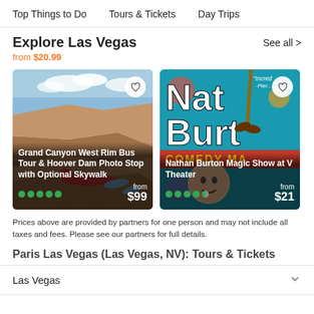Top Things to Do   Tours & Tickets   Day Trips
Explore Las Vegas from $20.99
See all >
[Figure (photo): Grand Canyon West Rim Bus Tour & Hoover Dam Photo Stop with Optional Skywalk - canyon photo with person lying on edge, 5 green dots rating, from $99]
[Figure (photo): Nathan Burton Magic Show at V Theater - colorful comedy magic show poster with performer, 4.5 green dots rating, from $21]
Prices above are provided by partners for one person and may not include all taxes and fees. Please see our partners for full details.
Paris Las Vegas (Las Vegas, NV): Tours & Tickets
Las Vegas